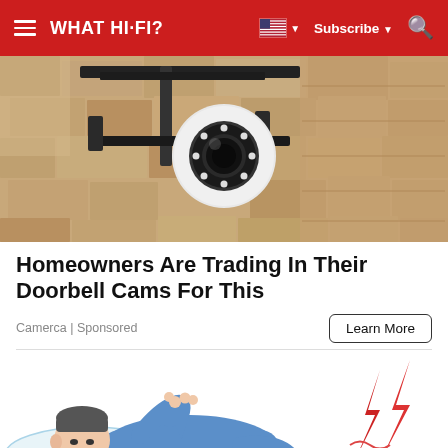WHAT HI-FI?  Subscribe
[Figure (photo): Security camera mounted on exterior wall, close-up view of a white PTZ camera with black mount bracket on stone/brick wall]
Homeowners Are Trading In Their Doorbell Cams For This
Camerca | Sponsored
Learn More
[Figure (illustration): Illustration of a person lying in bed experiencing leg/foot cramp pain, shown with red lightning bolt pain indicators near the foot]